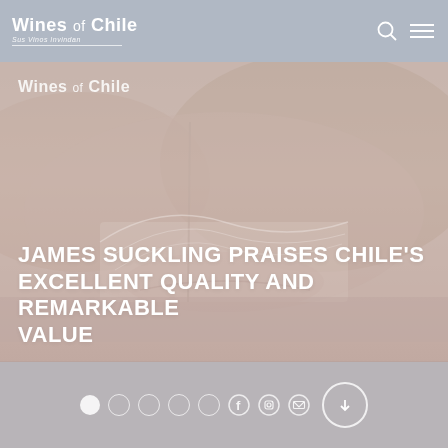Wines of Chile
[Figure (photo): Hero image showing a vineyard landscape in Chile with misty mountains and rows of vines, overlaid with a pinkish-beige tone]
Wines of Chile
JAMES SUCKLING PRAISES CHILE'S EXCELLENT QUALITY AND REMARKABLE VALUE
Navigation icon bar with social media and page indicator icons